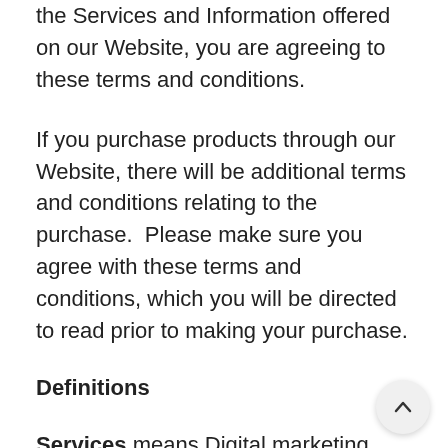the Services and Information offered on our Website, you are agreeing to these terms and conditions.
If you purchase products through our Website, there will be additional terms and conditions relating to the purchase.  Please make sure you agree with these terms and conditions, which you will be directed to read prior to making your purchase.
Definitions
Services means Digital marketing services offered on this website, including but not